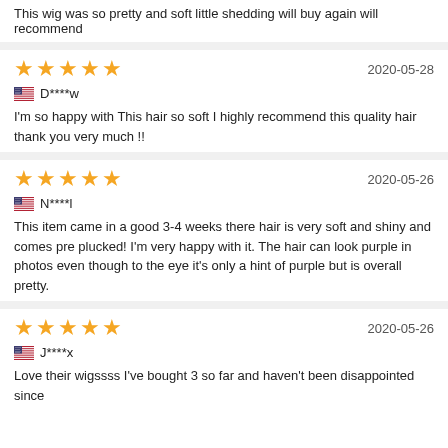This wig was so pretty and soft little shedding will buy again will recommend
2020-05-28
D****w
I'm so happy with This hair so soft I highly recommend this quality hair thank you very much !!
2020-05-26
N****l
This item came in a good 3-4 weeks there hair is very soft and shiny and comes pre plucked! I'm very happy with it. The hair can look purple in photos even though to the eye it's only a hint of purple but is overall pretty.
2020-05-26
J****x
Love their wigssss I've bought 3 so far and haven't been disappointed since